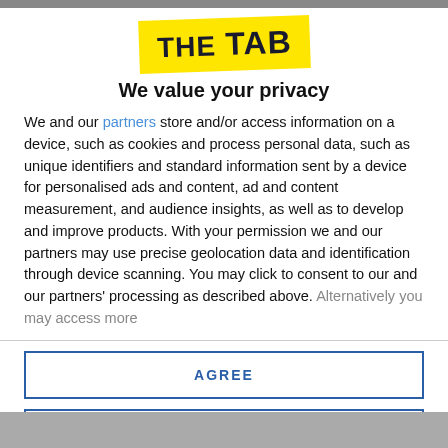[Figure (logo): The Tab logo: bold black uppercase text 'THE TAB' on a yellow tilted background]
We value your privacy
We and our partners store and/or access information on a device, such as cookies and process personal data, such as unique identifiers and standard information sent by a device for personalised ads and content, ad and content measurement, and audience insights, as well as to develop and improve products. With your permission we and our partners may use precise geolocation data and identification through device scanning. You may click to consent to our and our partners' processing as described above. Alternatively you may access more
AGREE
MORE OPTIONS